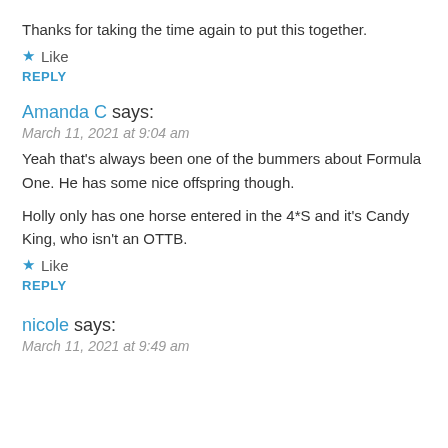Thanks for taking the time again to put this together.
★ Like
REPLY
Amanda C says:
March 11, 2021 at 9:04 am
Yeah that's always been one of the bummers about Formula One. He has some nice offspring though.
Holly only has one horse entered in the 4*S and it's Candy King, who isn't an OTTB.
★ Like
REPLY
nicole says:
March 11, 2021 at 9:49 am